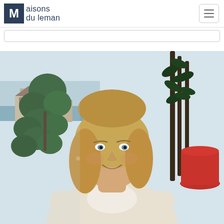[Figure (logo): Maisons du Leman logo: dark navy square with white 'M' letter, followed by text 'Maisons du leman' in navy]
[Figure (other): Hamburger/toggle navigation menu button with three horizontal lines, inside a rounded rectangle border]
[Figure (other): Search bar placeholder, empty white rounded rectangle with border]
[Figure (photo): Portrait photo of a smiling blonde woman wearing a white embroidered sweater, seated in an office or indoor setting with green plants (large round-leafed plant on left, tall dark-leafed plant behind) and a red planter on the right, with a window view of houses and a lake or water body in the background]